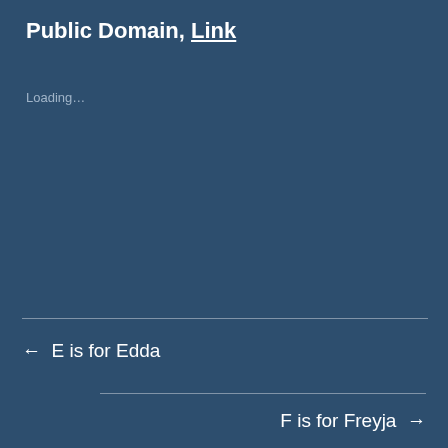Public Domain, Link
Loading...
← E is for Edda
F is for Freyja →